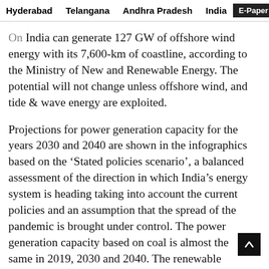Hyderabad   Telangana   Andhra Pradesh   India   E-Paper
On India can generate 127 GW of offshore wind energy with its 7,600-km of coastline, according to the Ministry of New and Renewable Energy. The potential will not change unless offshore wind, and tide & wave energy are exploited.
Projections for power generation capacity for the years 2030 and 2040 are shown in the infographics based on the 'Stated policies scenario', a balanced assessment of the direction in which India's energy system is heading taking into account the current policies and an assumption that the spread of the pandemic is brought under control. The power generation capacity based on coal is almost the same in 2019, 2030 and 2040. The renewable potential remaining after the year 2040 is 205